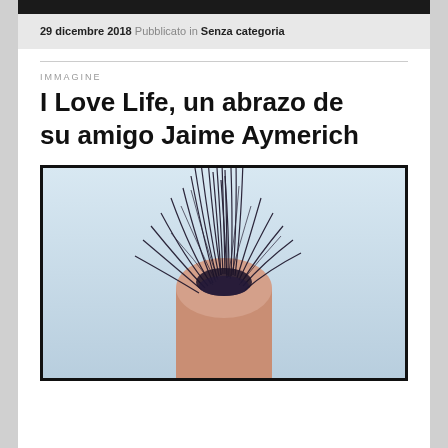29 dicembre 2018  Pubblicato in Senza categoria
IMMAGINE
I Love Life, un abrazo de su amigo Jaime Aymerich
[Figure (photo): Close-up photo of a fingertip with dark hair or fur rising from the tip, against a light blue background. The image shows a single finger pointing upward with dark strands fanning out from the top.]